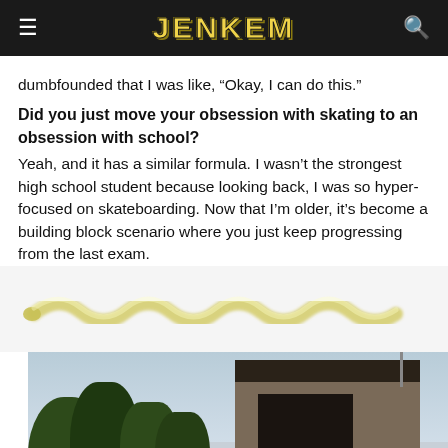JENKEM
dumbfounded that I was like, “Okay, I can do this.”
Did you just move your obsession with skating to an obsession with school?
Yeah, and it has a similar formula. I wasn’t the strongest high school student because looking back, I was so hyper-focused on skateboarding. Now that I’m older, it’s become a building block scenario where you just keep progressing from the last exam.
[Figure (illustration): Decorative yellow squiggly line / worm shape on light gray background]
[Figure (photo): Outdoor urban scene with palm trees, a large brown building structure, blue sky, and a skater in the foreground]